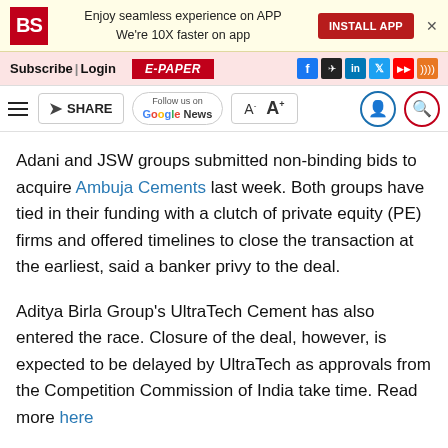[Figure (screenshot): Business Standard app install banner with BS logo, text 'Enjoy seamless experience on APP We're 10X faster on app', red INSTALL APP button, and X close button]
Subscribe| Login  E-PAPER  [social icons: f, telegram, in, twitter, youtube, rss]
[Figure (screenshot): Toolbar with hamburger menu, SHARE button, Follow us on Google News button, A- A+ font size buttons, user and search icons]
Adani and JSW groups submitted non-binding bids to acquire Ambuja Cements last week. Both groups have tied in their funding with a clutch of private equity (PE) firms and offered timelines to close the transaction at the earliest, said a banker privy to the deal.
Aditya Birla Group's UltraTech Cement has also entered the race. Closure of the deal, however, is expected to be delayed by UltraTech as approvals from the Competition Commission of India take time. Read more here